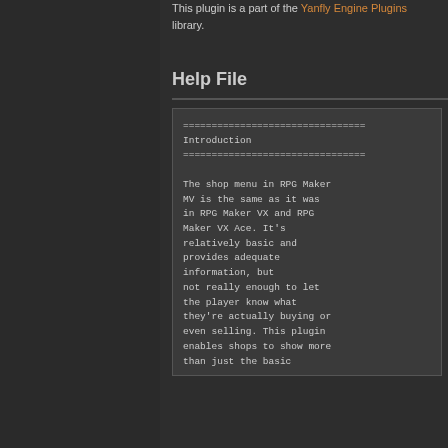This plugin is a part of the Yanfly Engine Plugins library.
Help File
==================================
Introduction
==================================

The shop menu in RPG Maker MV is the same as it was in RPG Maker VX and RPG Maker VX Ace. It's relatively basic and provides adequate information, but not really enough to let the player know what they're actually buying or even selling. This plugin enables shops to show more than just the basic